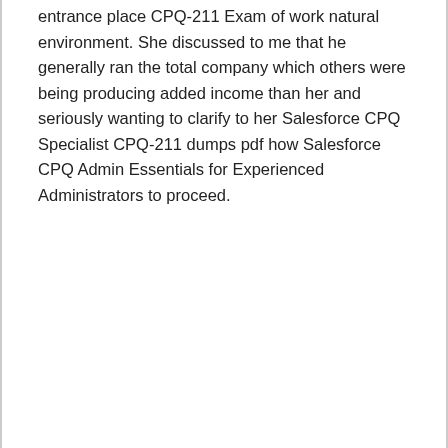entrance place CPQ-211 Exam of work natural environment. She discussed to me that he generally ran the total company which others were being producing added income than her and seriously wanting to clarify to her Salesforce CPQ Specialist CPQ-211 dumps pdf how Salesforce CPQ Admin Essentials for Experienced Administrators to proceed.